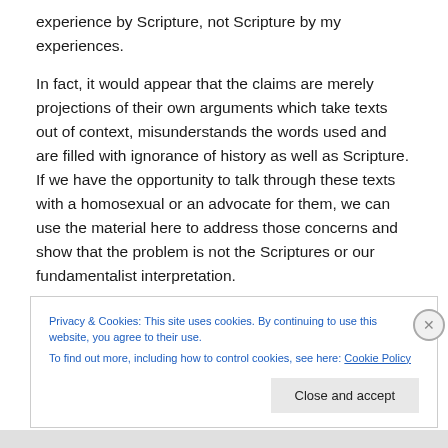experience by Scripture, not Scripture by my experiences.
In fact, it would appear that the claims are merely projections of their own arguments which take texts out of context, misunderstands the words used and are filled with ignorance of history as well as Scripture. If we have the opportunity to talk through these texts with a homosexual or an advocate for them, we can use the material here to address those concerns and show that the problem is not the Scriptures or our fundamentalist interpretation.
Privacy & Cookies: This site uses cookies. By continuing to use this website, you agree to their use.
To find out more, including how to control cookies, see here: Cookie Policy
Close and accept